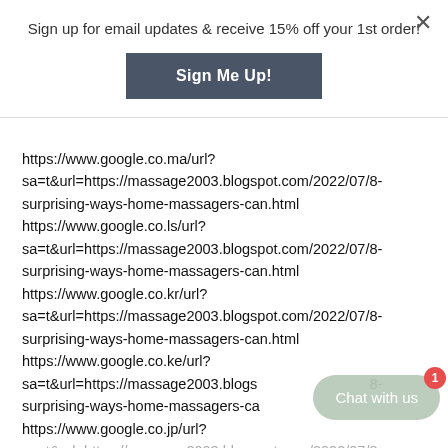Sign up for email updates & receive 15% off your 1st order!
Sign Me Up!
https://www.google.co.ma/url?sa=t&url=https://massage2003.blogspot.com/2022/07/8-surprising-ways-home-massagers-can.html https://www.google.co.ls/url?sa=t&url=https://massage2003.blogspot.com/2022/07/8-surprising-ways-home-massagers-can.html https://www.google.co.kr/url?sa=t&url=https://massage2003.blogspot.com/2022/07/8-surprising-ways-home-massagers-can.html https://www.google.co.ke/url?sa=t&url=https://massage2003.blogspot.com/2022/07/8-surprising-ways-home-massagers-can.html https://www.google.co.jp/url?sa=t&url=https://massage2003.blogspot.com/2022/07/8-
Chat with us